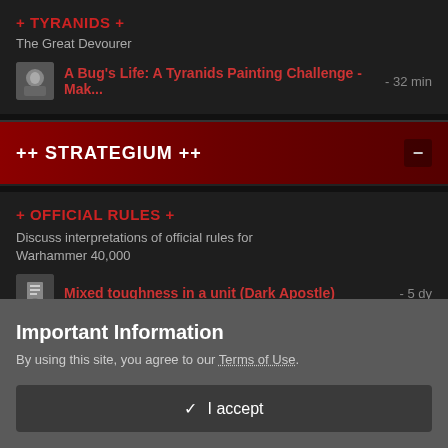+ TYRANIDS +
The Great Devourer
4.3k posts
A Bug's Life: A Tyranids Painting Challenge - Mak... - 32 min
++ STRATEGIUM ++
+ OFFICIAL RULES +
Discuss interpretations of official rules for Warhammer 40,000
57.8k posts
Mixed toughness in a unit (Dark Apostle) - 5 dy
Important Information
By using this site, you agree to our Terms of Use.
✓  I accept